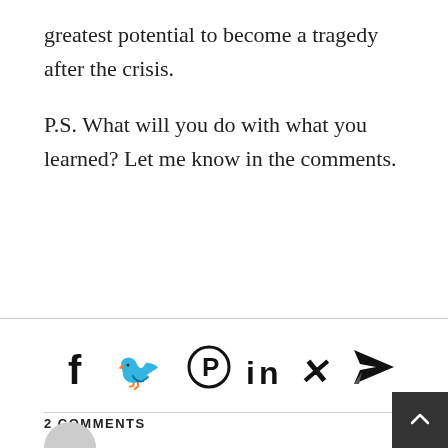greatest potential to become a tragedy after the crisis.
P.S. What will you do with what you learned? Let me know in the comments.
[Figure (infographic): Social media sharing icons: Facebook (f), Twitter (bird), Pinterest (circle P), LinkedIn (in), Xing (X), Telegram (paper plane)]
2 COMMENTS